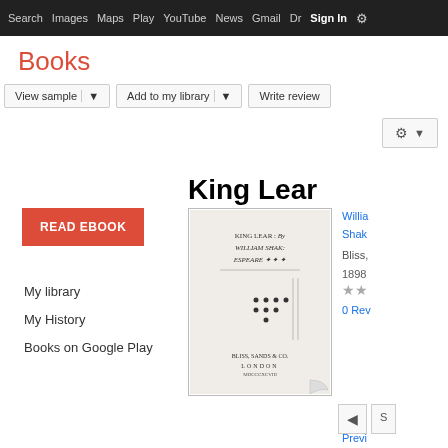Search  Images  Maps  Play  YouTube  News  Gmail  Drive  More  Sign In  ⚙
Books
View sample  ▼   Add to my library  ▼   Write review   ⚙ ▼
READ EBOOK
My library
My History
Books on Google Play
King Lear
[Figure (photo): Cover of King Lear book showing title page: KING LEAR : By WILLIAM SHAKESPEARE, published by BLISS, SANDS & CO., LONDON, 1898]
William Shakespeare
Bliss, 1898
★★
0 Reviews